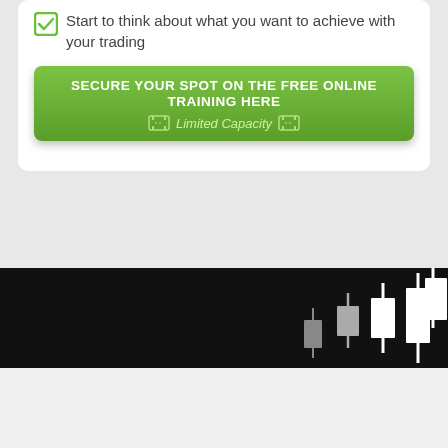Start to think about what you want to achieve with your trading
SECURE YOUR SPOT ON THE FREE ONLINE TRAINING HERE
Limited Capacity
[Figure (illustration): Dark background with white candlestick chart shapes on the right side]
THE FOUNDER OF LEARN TO TRADE
[Figure (photo): Top of a person's head with brown hair, partially visible at bottom of page]